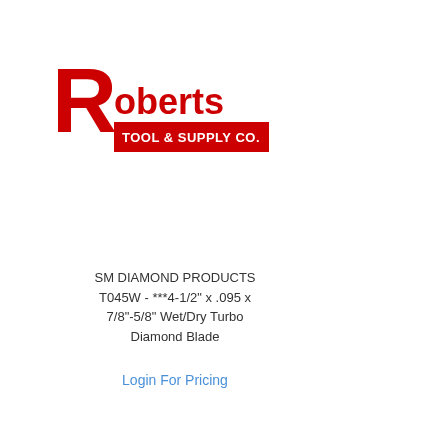[Figure (logo): Roberts Tool & Supply Co. logo — large red R followed by 'oberts' in red, with 'TOOL & SUPPLY CO.' on a red banner below]
SM DIAMOND PRODUCTS
T045W - ***4-1/2" x .095 x 7/8"-5/8" Wet/Dry Turbo Diamond Blade
Login For Pricing